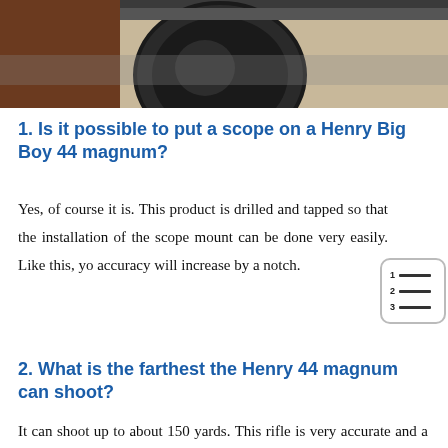[Figure (photo): Partial image of a rifle with scope and sticky note visible at top of page]
1. Is it possible to put a scope on a Henry Big Boy 44 magnum?
Yes, of course it is. This product is drilled and tapped so that the installation of the scope mount can be done very easily. Like this, your accuracy will increase by a notch.
2. What is the farthest the Henry 44 magnum can shoot?
It can shoot up to about 150 yards. This rifle is very accurate and a perfect companion for